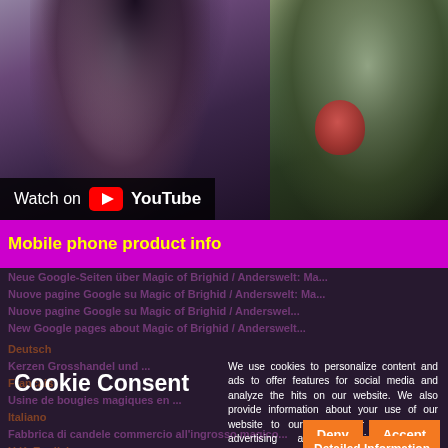[Figure (screenshot): YouTube video thumbnail showing two women; left side shows a woman in dark patterned top, right side shows a woman holding a red apple. 'Watch on YouTube' overlay appears at bottom left of the left panel.]
Mobile phone product info
Neue Google-Seiten über Magic...
Nuove pagine Google su Magic...
New Google pages about Magic...
Deutsch
Kerzen Grosshandel ...
Français
Usine de bougies magiques en ...
Italiano
Fabbrica di candele commercio all'ingrosso magico...
U.K. English
Candles factory Link...
Esoterkhändler Liste von Magic of Brighid / ...
Liste des détailtants ésotériques de Magic of Brighid / Anderswelt...
Cookie Consent
We use cookies to personalize content and ads to offer features for social media and analyze the hits on our website. We also provide information about your use of our website to our partner for social media, advertising and analysis continues. Furthermore, purely technical cookies are used to ensure the functionality of the website, these cannot be deactivated.
Deny
Accept
Detailed Information